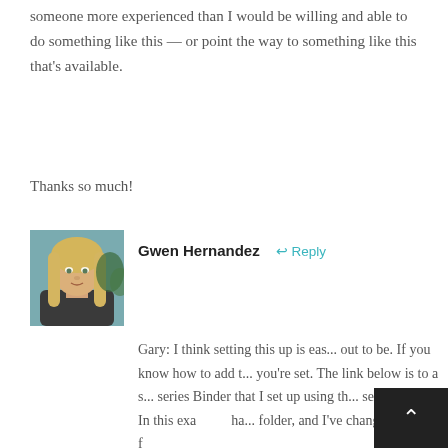someone more experienced than I would be willing and able to do something like this — or point the way to something like this that's available.
Thanks so much!
[Figure (photo): Profile photo of Gwen Hernandez, a woman with long blonde hair against a teal/green background]
Gwen Hernandez
↩ Reply
Gary: I think setting this up is eas... out to be. If you know how to add t... you're set. The link below is to a s... series Binder that I set up using th... series books. In this exa... ha... folder, and I've changed the icon f...